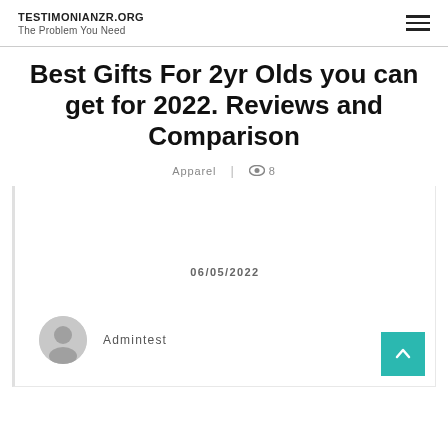TESTIMONIANZR.ORG
The Problem You Need
Best Gifts For 2yr Olds you can get for 2022. Reviews and Comparison
Apparel | 👁 8
06/05/2022
Admintest